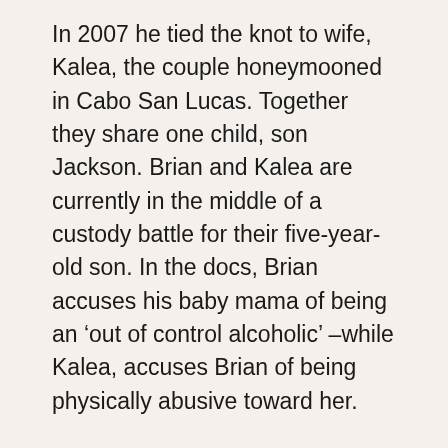In 2007 he tied the knot to wife, Kalea, the couple honeymooned in Cabo San Lucas. Together they share one child, son Jackson. Brian and Kalea are currently in the middle of a custody battle for their five-year-old son. In the docs, Brian accuses his baby mama of being an ‘out of control alcoholic’ –while Kalea, accuses Brian of being physically abusive toward her.
Kalea Dunkleman was born Kalea Nassif on November 6, 1978. The former spouse and mother of one currently resides in Los Angeles. According to her social media she